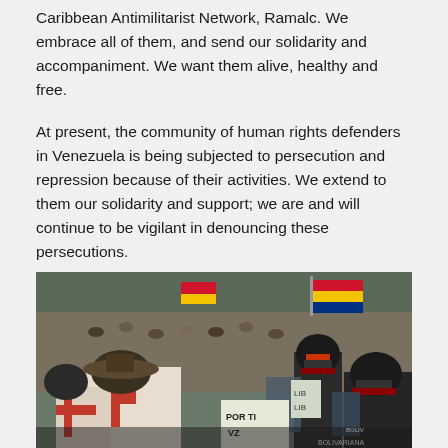Caribbean Antimilitarist Network, Ramalc. We embrace all of them, and send our solidarity and accompaniment. We want them alive, healthy and free.
At present, the community of human rights defenders in Venezuela is being subjected to persecution and repression because of their activities. We extend to them our solidarity and support; we are and will continue to be vigilant in denouncing these persecutions.
Read more
[Figure (photo): A large protest crowd with flags including the Venezuelan flag visible in the background. In the foreground, riot police in helmets with shields face demonstrators carrying shields with a red cross pattern. Signs include 'POR TI VZ' visible among the crowd.]